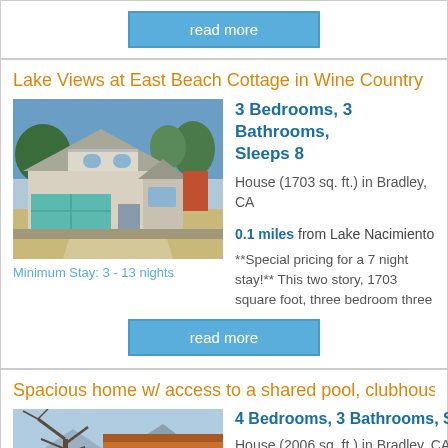read more
Lake Views at East Beach Cottage in Wine Country
[Figure (photo): Two-story house with teal/green garage door and balcony, driveway in foreground, trees in background]
Minimum Stay: 3 - 13 nights
3 Bedrooms, 3 Bathrooms, Sleeps 8
House (1703 sq. ft.) in Bradley, CA
0.1 miles from Lake Nacimiento
**Special pricing for a 7 night stay!** This two story, 1703 square foot, three bedroom three
read more
Spacious home w/ access to a shared pool, clubhous
[Figure (photo): House with red/orange siding, bare tree in foreground, mountains and sky visible in background]
4 Bedrooms, 3 Bathrooms, Sl
House (2006 sq. ft.) in Bradley, CA
0.1 miles from Lake Nacimiento